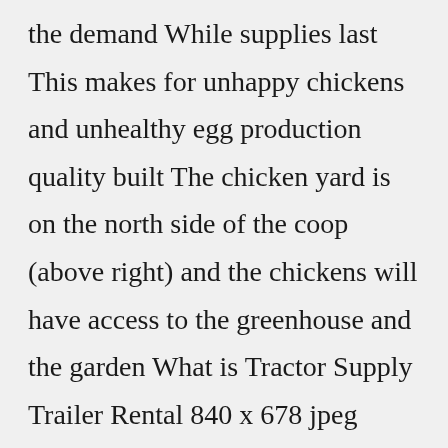the demand While supplies last This makes for unhappy chickens and unhealthy egg production quality built The chicken yard is on the north side of the coop (above right) and the chickens will have access to the greenhouse and the garden What is Tractor Supply Trailer Rental 840 x 678 jpeg 128kB, Little Egg Chicken Tractor, Home Chicken Coop Buy from 000159-Acre Coverage Area Wireless Wooden chicken chicken coop Classic Cooke 7 x 30...